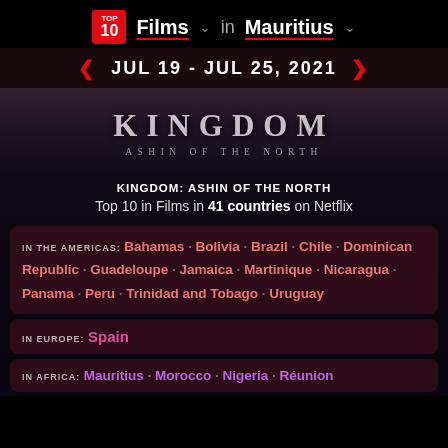TOP 10 Films in Mauritius
JUL 19 - JUL 25, 2021
[Figure (screenshot): Kingdom: Ashin of the North title card with dark fantasy background]
KINGDOM: ASHIN OF THE NORTH
Top 10 in Films in 41 countries on Netflix
IN THE AMERICAS: Bahamas · Bolivia · Brazil · Chile · Dominican Republic · Guadeloupe · Jamaica · Martinique · Nicaragua · Panama · Peru · Trinidad and Tobago · Uruguay
IN EUROPE: Spain
IN AFRICA: Mauritius · Morocco · Nigeria · Réunion